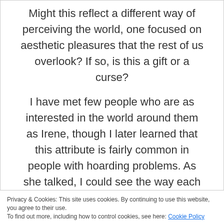Might this reflect a different way of perceiving the world, one focused on aesthetic pleasures that the rest of us overlook? If so, is this a gift or a curse?
I have met few people who are as interested in the world around them as Irene, though I later learned that this attribute is fairly common in people with hoarding problems. As she talked, I could see the way each of her things was connected to her and how they formed the fabric of her life.
Privacy & Cookies: This site uses cookies. By continuing to use this website, you agree to their use.
To find out more, including how to control cookies, see here: Cookie Policy
Close and accept
relationships, but because it's an incredibly difficult